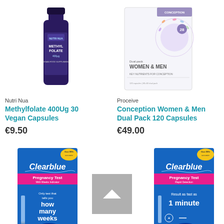[Figure (photo): Nutri Nua Methylfolate 400µg supplement bottle, dark glass bottle with label]
[Figure (photo): Proceive Conception Women & Men Dual Pack 120 Capsules box, white and purple packaging with circular pill design]
Nutri Nua
Methylfolate 400Ug 30 Vegan Capsules
€9.50
Proceive
Conception Women & Men Dual Pack 120 Capsules
€49.00
[Figure (photo): Clearblue Pregnancy Test with Weeks Indicator box, blue packaging, says 'Only test that tells you how many weeks']
[Figure (photo): Clearblue Pregnancy Test Rapid Detection box, blue packaging, says 'Result as fast as 1 minute']